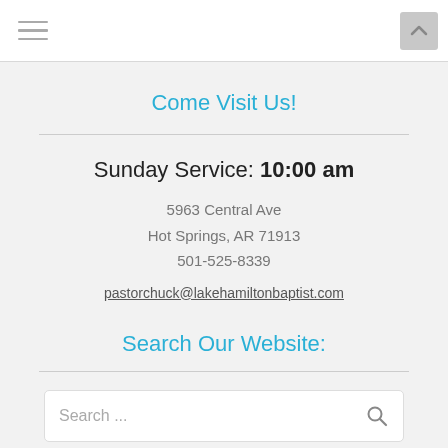Navigation bar with hamburger menu and scroll-to-top button
Come Visit Us!
Sunday Service: 10:00 am
5963 Central Ave
Hot Springs, AR 71913
501-525-8339
pastorchuck@lakehamiltonbaptist.com
Search Our Website:
Search ...